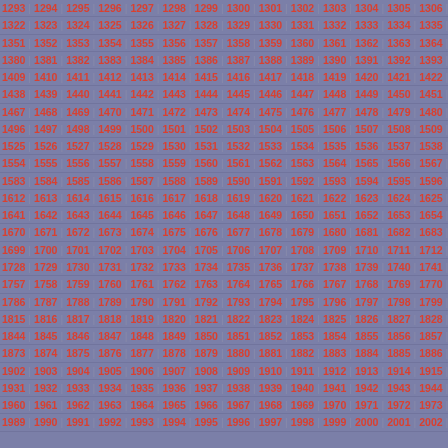| 1293 | 1294 | 1295 | 1296 | 1297 | 1298 | 1299 | 1300 | 1301 | 1302 | 1303 | 1304 | 1305 | 1306 | 1307 |
| 1322 | 1323 | 1324 | 1325 | 1326 | 1327 | 1328 | 1329 | 1330 | 1331 | 1332 | 1333 | 1334 | 1335 | 1336 |
| 1351 | 1352 | 1353 | 1354 | 1355 | 1356 | 1357 | 1358 | 1359 | 1360 | 1361 | 1362 | 1363 | 1364 | 1365 |
| 1380 | 1381 | 1382 | 1383 | 1384 | 1385 | 1386 | 1387 | 1388 | 1389 | 1390 | 1391 | 1392 | 1393 | 1394 |
| 1409 | 1410 | 1411 | 1412 | 1413 | 1414 | 1415 | 1416 | 1417 | 1418 | 1419 | 1420 | 1421 | 1422 | 1423 |
| 1438 | 1439 | 1440 | 1441 | 1442 | 1443 | 1444 | 1445 | 1446 | 1447 | 1448 | 1449 | 1450 | 1451 | 1452 |
| 1467 | 1468 | 1469 | 1470 | 1471 | 1472 | 1473 | 1474 | 1475 | 1476 | 1477 | 1478 | 1479 | 1480 | 1481 |
| 1496 | 1497 | 1498 | 1499 | 1500 | 1501 | 1502 | 1503 | 1504 | 1505 | 1506 | 1507 | 1508 | 1509 | 1510 |
| 1525 | 1526 | 1527 | 1528 | 1529 | 1530 | 1531 | 1532 | 1533 | 1534 | 1535 | 1536 | 1537 | 1538 | 1539 |
| 1554 | 1555 | 1556 | 1557 | 1558 | 1559 | 1560 | 1561 | 1562 | 1563 | 1564 | 1565 | 1566 | 1567 | 1568 |
| 1583 | 1584 | 1585 | 1586 | 1587 | 1588 | 1589 | 1590 | 1591 | 1592 | 1593 | 1594 | 1595 | 1596 | 1597 |
| 1612 | 1613 | 1614 | 1615 | 1616 | 1617 | 1618 | 1619 | 1620 | 1621 | 1622 | 1623 | 1624 | 1625 | 1626 |
| 1641 | 1642 | 1643 | 1644 | 1645 | 1646 | 1647 | 1648 | 1649 | 1650 | 1651 | 1652 | 1653 | 1654 | 1655 |
| 1670 | 1671 | 1672 | 1673 | 1674 | 1675 | 1676 | 1677 | 1678 | 1679 | 1680 | 1681 | 1682 | 1683 | 1684 |
| 1699 | 1700 | 1701 | 1702 | 1703 | 1704 | 1705 | 1706 | 1707 | 1708 | 1709 | 1710 | 1711 | 1712 | 1713 |
| 1728 | 1729 | 1730 | 1731 | 1732 | 1733 | 1734 | 1735 | 1736 | 1737 | 1738 | 1739 | 1740 | 1741 | 1742 |
| 1757 | 1758 | 1759 | 1760 | 1761 | 1762 | 1763 | 1764 | 1765 | 1766 | 1767 | 1768 | 1769 | 1770 | 1771 |
| 1786 | 1787 | 1788 | 1789 | 1790 | 1791 | 1792 | 1793 | 1794 | 1795 | 1796 | 1797 | 1798 | 1799 | 1800 |
| 1815 | 1816 | 1817 | 1818 | 1819 | 1820 | 1821 | 1822 | 1823 | 1824 | 1825 | 1826 | 1827 | 1828 | 1829 |
| 1844 | 1845 | 1846 | 1847 | 1848 | 1849 | 1850 | 1851 | 1852 | 1853 | 1854 | 1855 | 1856 | 1857 | 1858 |
| 1873 | 1874 | 1875 | 1876 | 1877 | 1878 | 1879 | 1880 | 1881 | 1882 | 1883 | 1884 | 1885 | 1886 | 1887 |
| 1902 | 1903 | 1904 | 1905 | 1906 | 1907 | 1908 | 1909 | 1910 | 1911 | 1912 | 1913 | 1914 | 1915 | 1916 |
| 1931 | 1932 | 1933 | 1934 | 1935 | 1936 | 1937 | 1938 | 1939 | 1940 | 1941 | 1942 | 1943 | 1944 | 1945 |
| 1960 | 1961 | 1962 | 1963 | 1964 | 1965 | 1966 | 1967 | 1968 | 1969 | 1970 | 1971 | 1972 | 1973 | 1974 |
| 1989 | 1990 | 1991 | 1992 | 1993 | 1994 | 1995 | 1996 | 1997 | 1998 | 1999 | 2000 | 2001 | 2002 | 2003 |